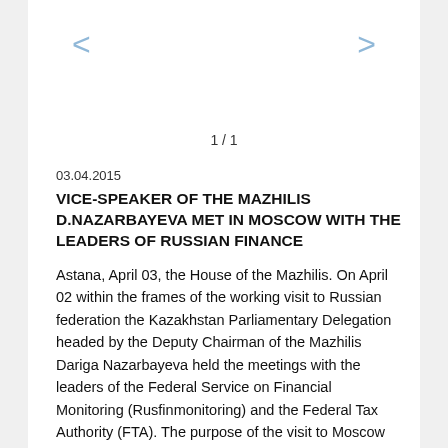1 / 1
03.04.2015
VICE-SPEAKER OF THE MAZHILIS D.NAZARBAYEVA MET IN MOSCOW WITH THE LEADERS OF RUSSIAN FINANCE
Astana, April 03, the House of the Mazhilis. On April 02 within the frames of the working visit to Russian federation the Kazakhstan Parliamentary Delegation headed by the Deputy Chairman of the Mazhilis Dariga Nazarbayeva held the meetings with the leaders of the Federal Service on Financial Monitoring (Rusfinmonitoring) and the Federal Tax Authority (FTA). The purpose of the visit to Moscow was the study of the Russian experience in the spheres of financial monitoring and tax administration. The Head of